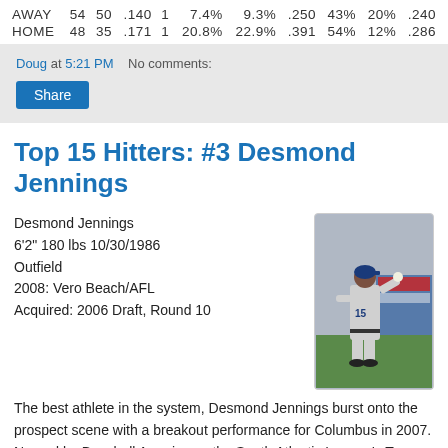|  |  |  |  |  |  |  |  |  |  |  |
| --- | --- | --- | --- | --- | --- | --- | --- | --- | --- | --- |
| AWAY | 54 | 50 | .140 | 1 | 7.4% | 9.3% | .250 | 43% | 20% | .240 |
| HOME | 48 | 35 | .171 | 1 | 20.8% | 22.9% | .391 | 54% | 12% | .286 |
Doug at 5:21 PM   No comments:
Share
Top 15 Hitters: #3 Desmond Jennings
Desmond Jennings
6'2" 180 lbs 10/30/1986
Outfield
2008: Vero Beach/AFL
Acquired: 2006 Draft, Round 10
[Figure (photo): Desmond Jennings (#15) in baseball uniform, throwing or fielding, on a baseball field]
The best athlete in the system, Desmond Jennings burst onto the prospect scene with a breakout performance for Columbus in 2007. Named by Baseball America as the South Atlantic League's Top Prospect after